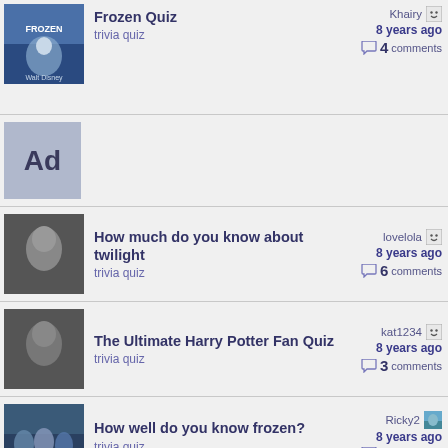Frozen Quiz — trivia quiz — Khairy — 8 years ago — 4 comments
[Figure (infographic): Ad placeholder box in blue-gray]
How much do you know about twilight — trivia quiz — lovelola — 8 years ago — 6 comments
The Ultimate Harry Potter Fan Quiz — trivia quiz — kat1234 — 8 years ago — 3 comments
How well do you know frozen? — trivia quiz — Ricky2 — 8 years ago — 3 comments
How well do you know Star Trek: the next generation — trivia quiz — Dancergal — 8 years ago — 0 comments
Icon Movie Trivia! — trivia quiz — RM929 — 8 years ago — 3 comments